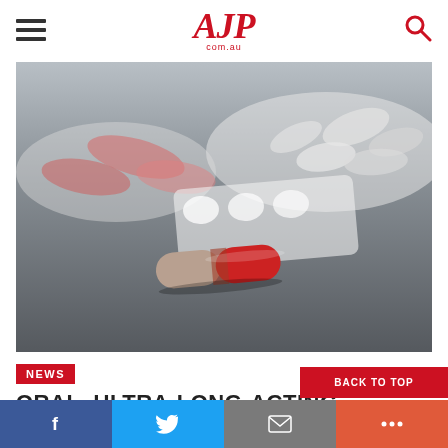AJP.com.au
[Figure (photo): Close-up photo of a red and grey capsule pill on a dark grey surface, with blurred white and pink pills in the background on a blister pack.]
NEWS
ORAL, ULTRA-LONG-ACTING MEDICATION ON THE HORIZON